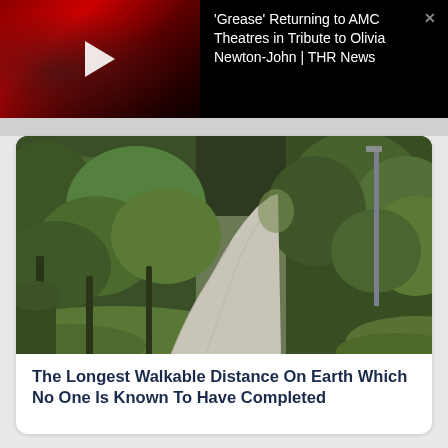[Figure (screenshot): Video thumbnail showing a dark red background with a white play button triangle, part of a news video player for a THR News segment about Grease returning to AMC Theatres]
'Grease' Returning to AMC Theatres in Tribute to Olivia Newton-John | THR News
[Figure (photo): A paved walking path curving through a lush green forested area with tall trees on both sides and a lamp post on the right side]
The Longest Walkable Distance On Earth Which No One Is Known To Have Completed